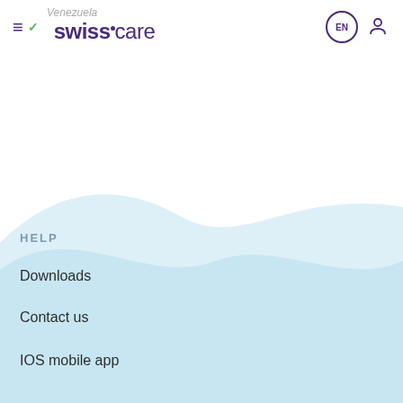≡ ✓ Venezuela swisscare EN [user icon]
[Figure (illustration): Light blue wave/ocean wave decorative background shape dividing the white upper section from the light blue lower footer section]
HELP
Downloads
Contact us
IOS mobile app